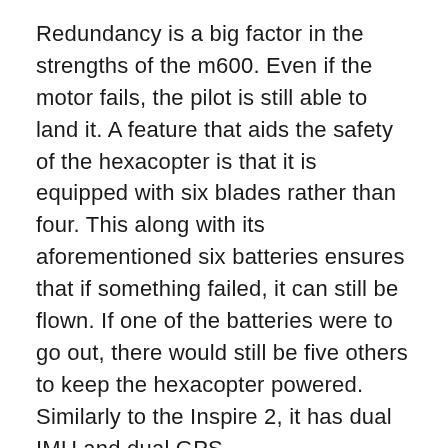Redundancy is a big factor in the strengths of the m600. Even if the motor fails, the pilot is still able to land it. A feature that aids the safety of the hexacopter is that it is equipped with six blades rather than four. This along with its aforementioned six batteries ensures that if something failed, it can still be flown. If one of the batteries were to go out, there would still be five others to keep the hexacopter powered. Similarly to the Inspire 2, it has dual IMU and dual GPS.
The m600 hexacopter offers its users convenience. Attached, is the gimbal. As seen in the picture attached, the gimbal is carrying a RED camera, but almost any camera can fit on it and be flown with said camera for any and all drone video needs. Another practical feature is the ability of the arms to